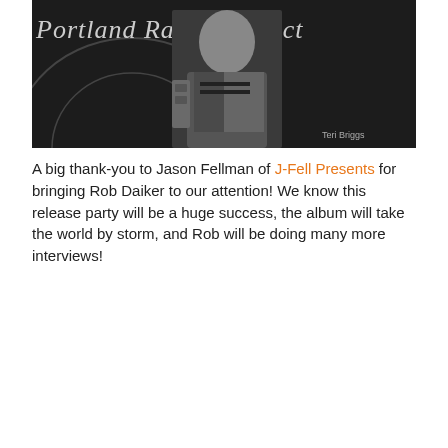[Figure (photo): Black and white photo of Rob Daiker in front of a Portland Radio Project banner, photo credit: Teri Briggs]
A big thank-you to Jason Fellman of J-Fell Presents for bringing Rob Daiker to our attention! We know this release party will be a huge success, the album will take the world by storm, and Rob will be doing many more interviews!
[Figure (screenshot): SoundCloud embedded widget showing a Portland Radio Project track with Play on SoundCloud and Listen in browser buttons, count 95]